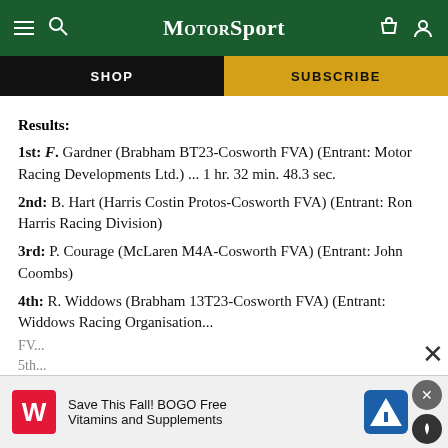MotorSport - SHOP | SUBSCRIBE
Results:
1st: F. Gardner (Brabham BT23-Cosworth FVA) (Entrant: Motor Racing Developments Ltd.) ... 1 hr. 32 min. 48.3 sec.
2nd: B. Hart (Harris Costin Protos-Cosworth FVA) (Entrant: Ron Harris Racing Division)
3rd: P. Courage (McLaren M4A-Cosworth FVA) (Entrant: John Coombs)
4th: R. Widdows (Brabham 13T23-Cosworth FVA) (Entrant: Widdows Racing Organisation)
5th: ...
[Figure (screenshot): Walgreens advertisement: Save This Fall! BOGO Free Vitamins and Supplements]